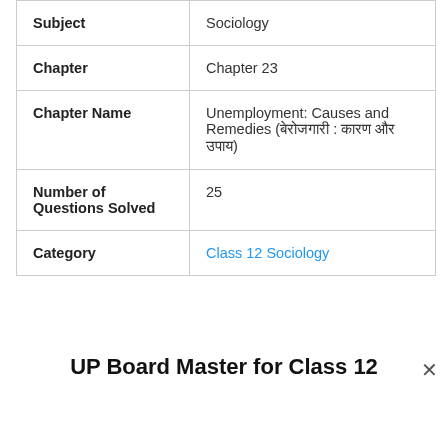| Field | Value |
| --- | --- |
| Subject | Sociology |
| Chapter | Chapter 23 |
| Chapter Name | Unemployment: Causes and Remedies (बेरोजगारी : कारण और उपाय) |
| Number of Questions Solved | 25 |
| Category | Class 12 Sociology |
UP Board Master for Class 12